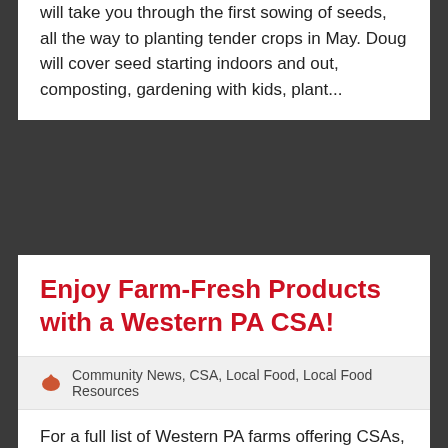will take you through the first sowing of seeds, all the way to planting tender crops in May. Doug will cover seed starting indoors and out, composting, gardening with kids, plant...
Enjoy Farm-Fresh Products with a Western PA CSA!
Community News, CSA, Local Food, Local Food Resources
For a full list of Western PA farms offering CSAs, visit: https://farmtablepa.com In a CSA (consumer supported agriculture), customers pay for “shares” and receive a percentage of the products harvested from local farms. Shares are available from farms and farm cooperatives throughout Western PA. Customers pick a designated site such as a home, business, or...